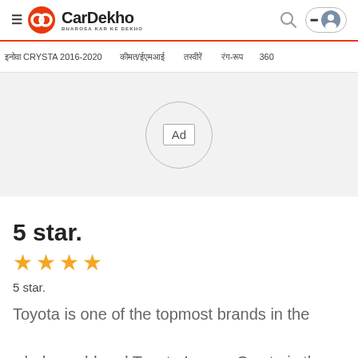CarDekho — BHAROSA KAR KE DEKHO
इनोवा CRYSTA 2016-2020   कीमत/ईएमआई   तस्वीरें   रंग-रूप   360
[Figure (other): Advertisement placeholder area with 'Ad' label inside a circle]
5 star.
[Figure (other): Four orange stars rating]
5 star.
Toyota is one of the topmost brands in the whole world and Toyota Innova Crysta is the